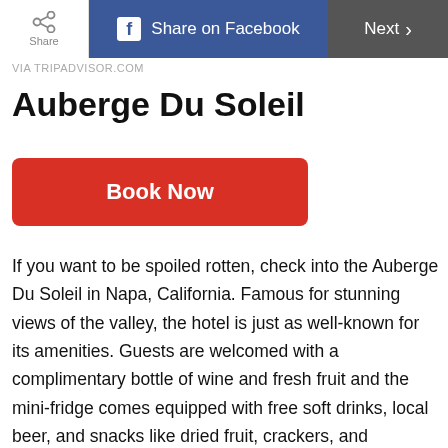Share | Share on Facebook | Next
VIA TRIPADVISOR.COM
Auberge Du Soleil
Book Now
If you want to be spoiled rotten, check into the Auberge Du Soleil in Napa, California. Famous for stunning views of the valley, the hotel is just as well-known for its amenities. Guests are welcomed with a complimentary bottle of wine and fresh fruit and the mini-fridge comes equipped with free soft drinks, local beer, and snacks like dried fruit, crackers, and tapenade. Before you plan your trip to Napa check out the gorgeous wineries everyone should visit once